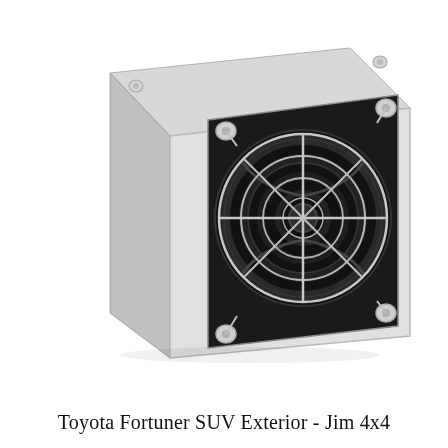[Figure (photo): A silver/grey metallic box (enclosure or power supply unit) with a large black axial fan on the front face, protected by a chrome wire fan guard. The unit has four corner mounting screws visible on the front face. The box is shown in a three-quarter perspective view against a white background.]
Toyota Fortuner SUV Exterior - Jim 4x4